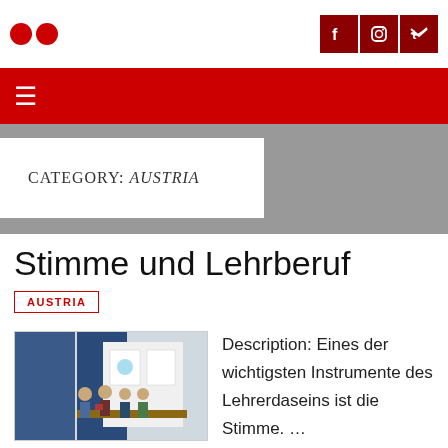Social icons: Facebook, Instagram, Twitter
☰ (hamburger menu)
CATEGORY: AUSTRIA
Stimme und Lehrberuf
AUSTRIA
[Figure (photo): Photo of students at a booth/display with blue panels and posters]
Description: Eines der wichtigsten Instrumente des Lehrerdaseins ist die Stimme. …